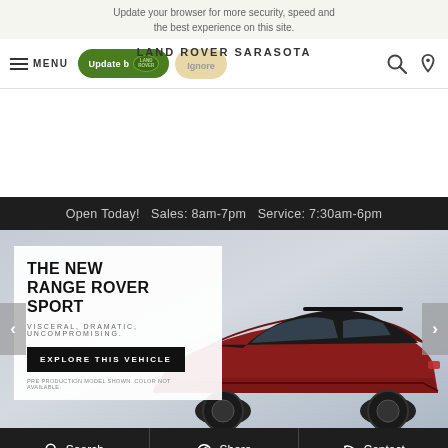Update your browser for more security, speed and the best experience on this site.
LAND ROVER SARASOTA
MENU | Update browser | Ignore | Search | Location
Open Today!  Sales: 8am-7pm  Service: 7:30am-6pm
[Figure (photo): Hero banner showing the new Range Rover Sport SUV in red/dark color on a grey background, with a white card overlay on the left.]
THE NEW RANGE ROVER SPORT
VISCERAL, DRAMATIC, UNCOMPROMISING.
EXPLORE THIS VEHICLE
PRE PRODUCTION MODEL SHOWN. COLOR NOT AVAILABLE.
Search  Share  Contact